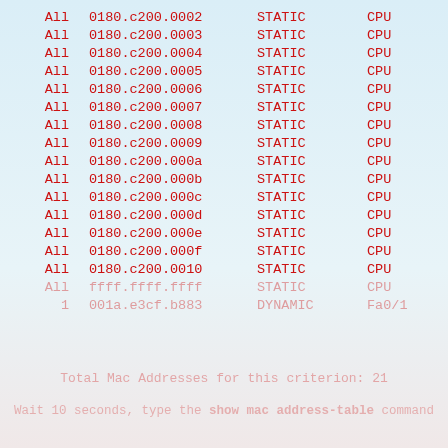|  |  |  |  |
| --- | --- | --- | --- |
| All | 0180.c200.0002 | STATIC | CPU |
| All | 0180.c200.0003 | STATIC | CPU |
| All | 0180.c200.0004 | STATIC | CPU |
| All | 0180.c200.0005 | STATIC | CPU |
| All | 0180.c200.0006 | STATIC | CPU |
| All | 0180.c200.0007 | STATIC | CPU |
| All | 0180.c200.0008 | STATIC | CPU |
| All | 0180.c200.0009 | STATIC | CPU |
| All | 0180.c200.000a | STATIC | CPU |
| All | 0180.c200.000b | STATIC | CPU |
| All | 0180.c200.000c | STATIC | CPU |
| All | 0180.c200.000d | STATIC | CPU |
| All | 0180.c200.000e | STATIC | CPU |
| All | 0180.c200.000f | STATIC | CPU |
| All | 0180.c200.0010 | STATIC | CPU |
| All | ffff.ffff.ffff | STATIC | CPU |
| 1 | 001a.e3cf.b883 | DYNAMIC | Fa0/1 |
Total Mac Addresses for this criterion: 21
Wait 10 seconds, type the show mac address-table command